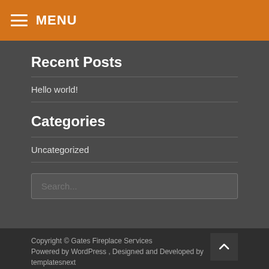MENU
Recent Posts
Hello world!
Categories
Uncategorized
Search...
Copyright © Gates Fireplace Services Powered by WordPress , Designed and Developed by templatesnext